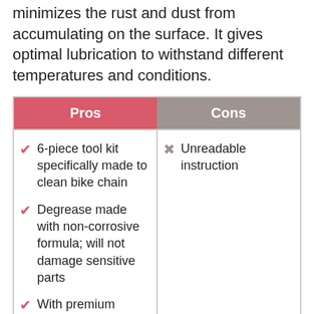minimizes the rust and dust from accumulating on the surface. It gives optimal lubrication to withstand different temperatures and conditions.
| Pros | Cons |
| --- | --- |
| 6-piece tool kit specifically made to clean bike chain | Unreadable instruction |
| Degrease made with non-corrosive formula; will not damage sensitive parts |  |
| With premium lubricant that provides lubrication and waterproofing features |  |